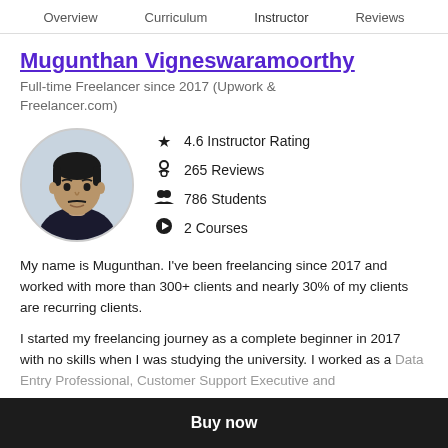Overview  Curriculum  Instructor  Reviews
Mugunthan Vigneswaramoorthy
Full-time Freelancer since 2017 (Upwork & Freelancer.com)
[Figure (photo): Circular profile photo of a young man with short hair wearing a dark t-shirt, on a light blue-grey background]
4.6 Instructor Rating
265 Reviews
786 Students
2 Courses
My name is Mugunthan. I've been freelancing since 2017 and worked with more than 300+ clients and nearly 30% of my clients are recurring clients.
I started my freelancing journey as a complete beginner in 2017 with no skills when I was studying the university. I worked as a Data Entry Professional, Customer Support Executive and
Buy now